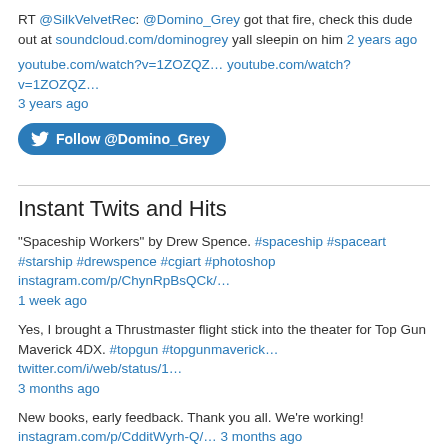RT @SilkVelvetRec: @Domino_Grey got that fire, check this dude out at soundcloud.com/dominogrey yall sleepin on him 2 years ago
youtube.com/watch?v=1ZOZQZ… youtube.com/watch?v=1ZOZQZ… 3 years ago
[Figure (other): Follow @Domino_Grey Twitter button]
Instant Twits and Hits
"Spaceship Workers" by Drew Spence. #spaceship #spaceart #starship #drewspence #cgiart #photoshop instagram.com/p/ChynRpBsQCk/… 1 week ago
Yes, I brought a Thrustmaster flight stick into the theater for Top Gun Maverick 4DX. #topgun #topgunmaverick… twitter.com/i/web/status/1… 3 months ago
New books, early feedback. Thank you all. We're working! instagram.com/p/CdditWyrh-Q/… 3 months ago